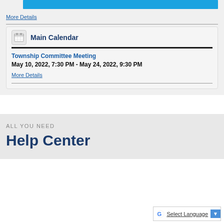[Figure (other): Blue banner/bar element at top of calendar widget]
More Details
Main Calendar
Township Committee Meeting
May 10, 2022, 7:30 PM - May 24, 2022, 9:30 PM
More Details
ALL YOU NEED
Help Center
Select Language